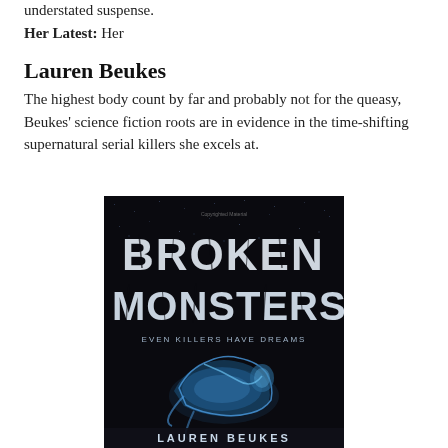understated suspense.
Her Latest: Her
Lauren Beukes
The highest body count by far and probably not for the queasy, Beukes' science fiction roots are in evidence in the time-shifting supernatural serial killers she excels at.
[Figure (photo): Book cover of 'Broken Monsters' by Lauren Beukes. Dark cover with cracked/distressed text reading 'BROKEN MONSTERS' and tagline 'EVEN KILLERS HAVE DREAMS'. Shows a glowing blue figure of a person bent backwards on a dark background. Author name 'LAUREN BEUKES' at the bottom.]